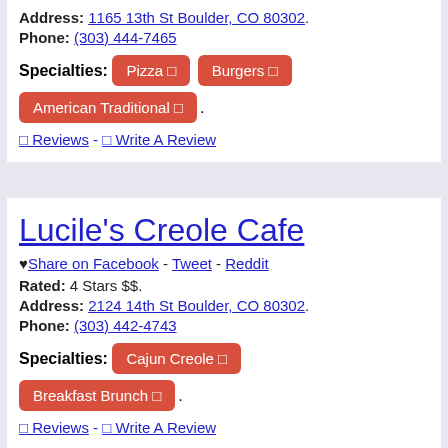Address: 1165 13th St Boulder, CO 80302.
Phone: (303) 444-7465
Specialties: Pizza  Burgers  American Traditional
Reviews - Write A Review
Lucile's Creole Cafe
Share on Facebook - Tweet - Reddit
Rated: 4 Stars $$.
Address: 2124 14th St Boulder, CO 80302.
Phone: (303) 442-4743
Specialties: Cajun Creole  Breakfast Brunch
Reviews - Write A Review